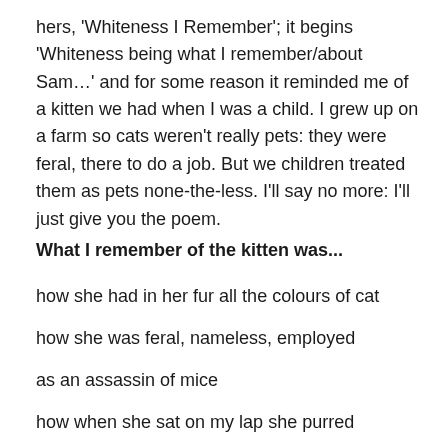hers, 'Whiteness I Remember'; it begins 'Whiteness being what I remember/about Sam…' and for some reason it reminded me of a kitten we had when I was a child. I grew up on a farm so cats weren't really pets: they were feral, there to do a job. But we children treated them as pets none-the-less. I'll say no more: I'll just give you the poem.
What I remember of the kitten was...
how she had in her fur all the colours of cat
how she was feral, nameless, employed
as an assassin of mice
how when she sat on my lap she purred